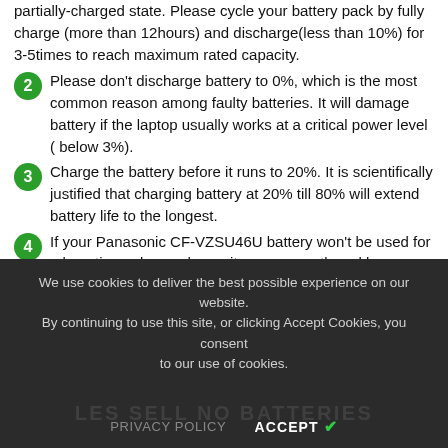partially-charged state. Please cycle your battery pack by fully charge (more than 12hours) and discharge(less than 10%) for 3-5times to reach maximum rated capacity.
2  Please don't discharge battery to 0%, which is the most common reason among faulty batteries. It will damage battery if the laptop usually works at a critical power level ( below 3%).
3  Charge the battery before it runs to 20%. It is scientifically justified that charging battery at 20% till 80% will extend battery life to the longest.
4  If your Panasonic CF-VZSU46U battery won't be used for a long time, please charge it once a month and keep battery power over 50%, remove it from your laptop and store it in an antistatic bag in a cool, dry place.
We use cookies to deliver the best possible experience on our website. By continuing to use this site, or clicking Accept Cookies, you consent to our use of cookies.
PRIVACY POLICY   ACCEPT ✔